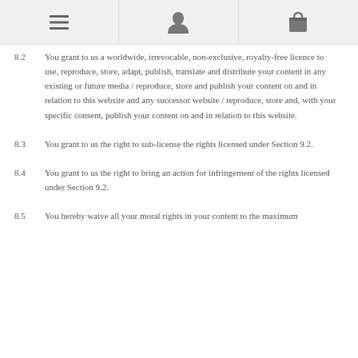[navigation icons: menu, user, cart]
8.2   You grant to us a worldwide, irrevocable, non-exclusive, royalty-free licence to use, reproduce, store, adapt, publish, translate and distribute your content in any existing or future media / reproduce, store and publish your content on and in relation to this website and any successor website / reproduce, store and, with your specific consent, publish your content on and in relation to this website.
8.3   You grant to us the right to sub-license the rights licensed under Section 9.2.
8.4   You grant to us the right to bring an action for infringement of the rights licensed under Section 9.2.
8.5   You hereby waive all your moral rights in your content to the maximum